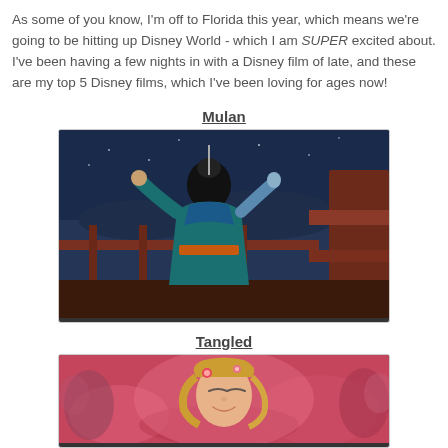As some of you know, I'm off to Florida this year, which means we're going to be hitting up Disney World - which I am SUPER excited about. I've been having a few nights in with a Disney film of late, and these are my top 5 Disney films, which I've been loving for ages now!
Mulan
[Figure (illustration): Scene from Disney's Mulan animated film showing a character in traditional Chinese clothing viewed from behind, looking out over a blue-toned landscape at night]
Tangled
[Figure (illustration): Scene from Disney's Tangled animated film showing a close-up of Rapunzel with eyes closed, surrounded by warm reddish-pink tones and people in background]